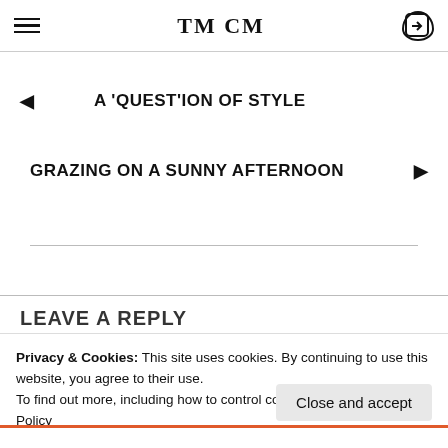TM CM
◄ A 'QUEST'ION OF STYLE
GRAZING ON A SUNNY AFTERNOON ►
LEAVE A REPLY
Privacy & Cookies: This site uses cookies. By continuing to use this website, you agree to their use.
To find out more, including how to control cookies, see here: Cookie Policy
Close and accept